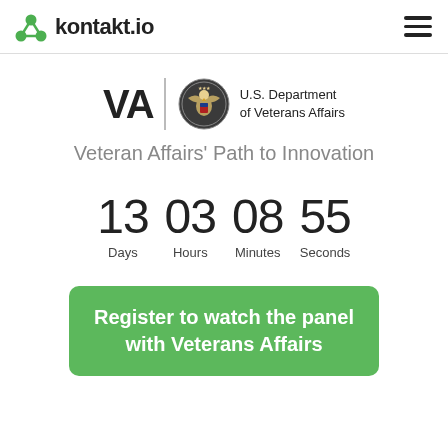kontakt.io
[Figure (logo): U.S. Department of Veterans Affairs seal and text logo with VA text and eagle emblem]
Veteran Affairs' Path to Innovation
13 Days 03 Hours 08 Minutes 55 Seconds
Register to watch the panel with Veterans Affairs